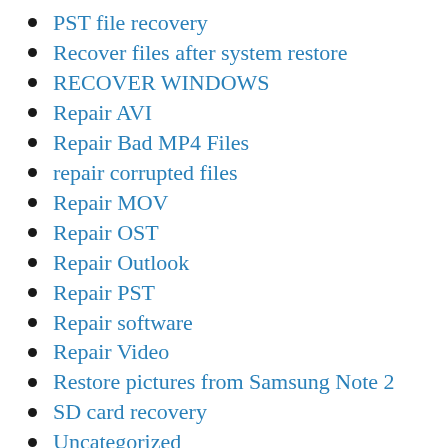PST file recovery
Recover files after system restore
RECOVER WINDOWS
Repair AVI
Repair Bad MP4 Files
repair corrupted files
Repair MOV
Repair OST
Repair Outlook
Repair PST
Repair software
Repair Video
Restore pictures from Samsung Note 2
SD card recovery
Uncategorized